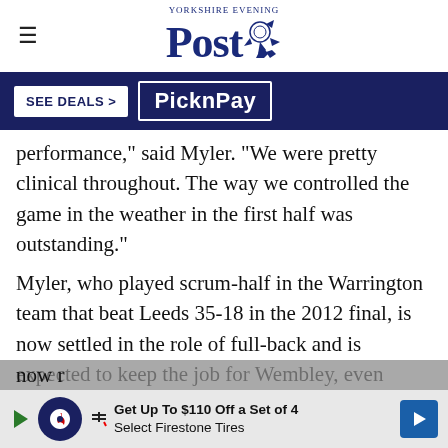Yorkshire Evening Post
[Figure (other): Advertisement banner with 'SEE DEALS >' and 'PicknPay' logo on dark navy background]
performance," said Myler. "We were pretty clinical throughout. The way we controlled the game in the weather in the first half was outstanding."
Myler, who played scrum-half in the Warrington team that beat Leeds 35-18 in the 2012 final, is now settled in the role of full-back and is expected to keep the job for Wembley, even though original first choice Jack Walker has now r...
[Figure (other): Bottom advertisement: Get Up To $110 Off a Set of 4 Select Firestone Tires]